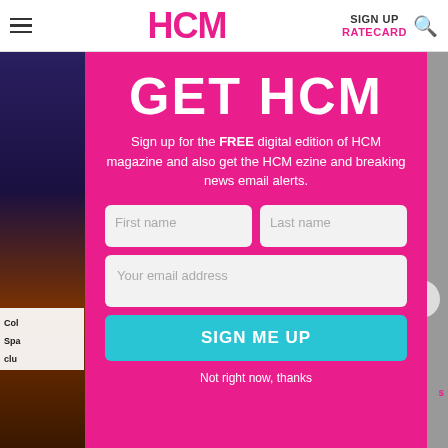HCM | SIGN UP | RATECARD
[Figure (screenshot): HCM magazine website screenshot showing a signup modal overlay on a fitness/gym article page. Pink modal with 'GET HCM' title, email signup form with First name, Last name, Your email address fields, a cyan SIGN ME UP button, and 'Not right now, thanks' link. Background shows gym interior images and partially visible article text.]
GET HCM
Sign up for the FREE digital edition of HCM magazine and also get the HCM ezine and breaking news email alerts.
First name
Last name
Your email address
SIGN ME UP
Not right now, thanks